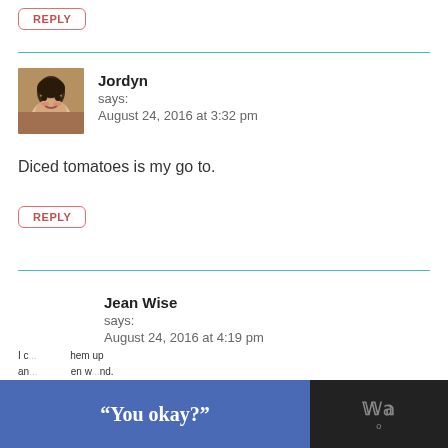REPLY
Jordyn
says:
August 24, 2016 at 3:32 pm
Diced tomatoes is my go to.
REPLY
Jean Wise
says:
August 24, 2016 at 4:19 pm
[Figure (screenshot): Advertisement banner at bottom: blue panel with quote text 'You okay?' and dark panel with logo]
I c... them up
and... en w...nd.